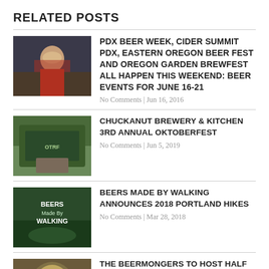RELATED POSTS
PDX BEER WEEK, CIDER SUMMIT PDX, EASTERN OREGON BEER FEST AND OREGON GARDEN BREWFEST ALL HAPPEN THIS WEEKEND: BEER EVENTS FOR JUNE 16-21
No Comments | Jun 16, 2016
CHUCKANUT BREWERY & KITCHEN 3RD ANNUAL OKTOBERFEST
No Comments | Jun 5, 2019
BEERS MADE BY WALKING ANNOUNCES 2018 PORTLAND HIKES
No Comments | Mar 28, 2018
THE BEERMONGERS TO HOST HALF ACRE BEER CO TAP TAKEOVER
1 Comment | Jul 16, 2018
ABOUT THE AUTHOR